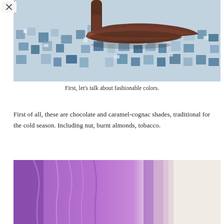[Figure (photo): Close-up of a brown leather high-heel shoe on a blue and white mosaic tile floor]
First, let's talk about fashionable colors.
First of all, these are chocolate and caramel-cognac shades, traditional for the cold season. Including nut, burnt almonds, tobacco.
[Figure (photo): Close-up of purple fabric folds against a light background]